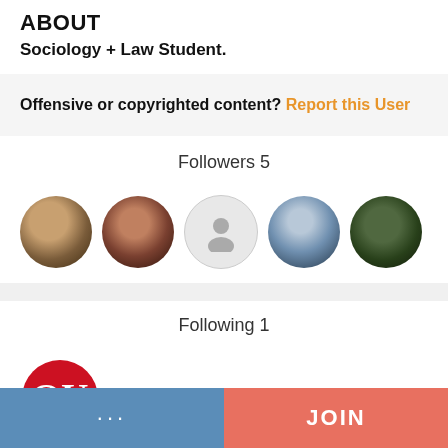ABOUT
Sociology + Law Student.
Offensive or copyrighted content? Report this User
Followers 5
[Figure (illustration): Five circular follower avatar photos in a row]
Following 1
[Figure (logo): University of Oklahoma logo in red circle]
… JOIN